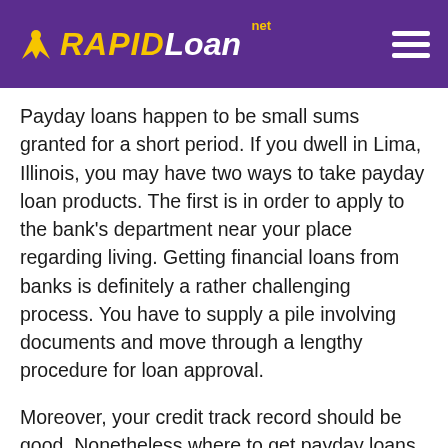RAPIDLoan.net
Payday loans happen to be small sums granted for a short period. If you dwell in Lima, Illinois, you may have two ways to take payday loan products. The first is in order to apply to the bank’s department near your place regarding living. Getting financial loans from banks is definitely a rather challenging process. You have to supply a pile involving documents and move through a lengthy procedure for loan approval.
Moreover, your credit track record should be good. Nonetheless where to get payday loans inside Lima with no credit check?
In case your credit record is bad, yet you need cash advance promptly, it’s better to implement to financial institutions that will offer payday loan products in Lima,